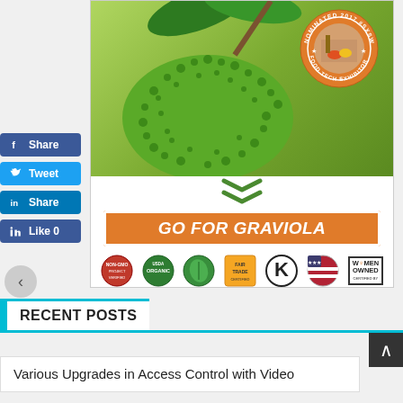[Figure (infographic): Graviola fruit product advertisement showing a spiky green soursop fruit with leaves, an orange circular 'Nominated 2017 #SXSW Food Tech Exhibitor' badge with a cooking scene inset, green double chevron arrows pointing down, an orange 'GO FOR GRAVIOLA' banner, and a strip of certification logos including Non-GMO, USDA Organic, Fair Trade, Kosher K, and Women Owned badges.]
Share
Tweet
Share
Like 0
RECENT POSTS
Various Upgrades in Access Control with Video